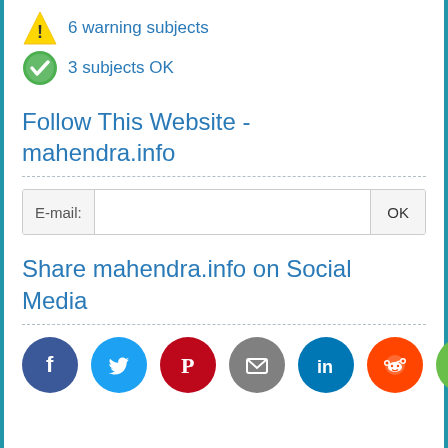6 warning subjects
3 subjects OK
Follow This Website - mahendra.info
E-mail: [input field] OK
Share mahendra.info on Social Media
[Figure (infographic): Social media share buttons: Facebook (dark blue), Twitter (light blue), Pinterest (red), Email (gray), LinkedIn (teal), Reddit (orange), Share (green)]